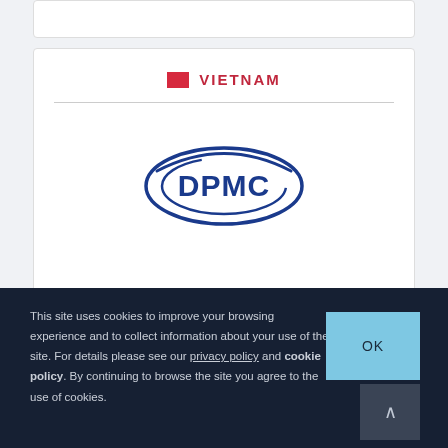VIETNAM
[Figure (logo): DPMC logo — blue oval ellipse with DPMC text inside in dark blue, stylized lettering]
This site uses cookies to improve your browsing experience and to collect information about your use of the site. For details please see our privacy policy and cookie policy. By continuing to browse the site you agree to the use of cookies.